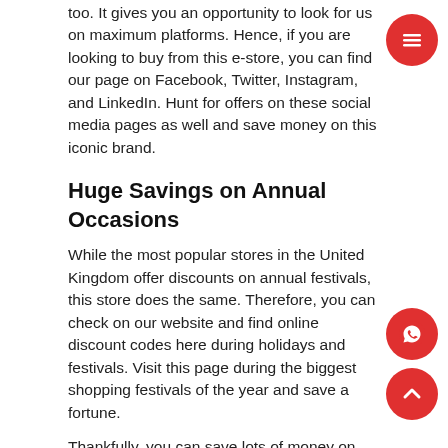too. It gives you an opportunity to look for us on maximum platforms. Hence, if you are looking to buy from this e-store, you can find our page on Facebook, Twitter, Instagram, and LinkedIn. Hunt for offers on these social media pages as well and save money on this iconic brand.
Huge Savings on Annual Occasions
While the most popular stores in the United Kingdom offer discounts on annual festivals, this store does the same. Therefore, you can check on our website and find online discount codes here during holidays and festivals. Visit this page during the biggest shopping festivals of the year and save a fortune.
Thankfully, you can save lots of money on holiday seasons every year. This store unveils enticing discounts and promos during,
Christmas
Labour Day
Halloween